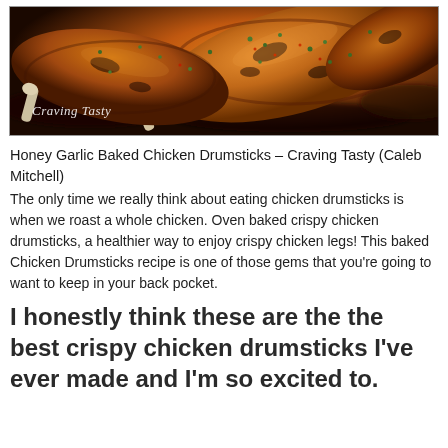[Figure (photo): Close-up photo of Honey Garlic Baked Chicken Drumsticks on a dark plate with rich brown sauce and chopped parsley garnish. Watermark reads 'Craving Tasty'.]
Honey Garlic Baked Chicken Drumsticks – Craving Tasty (Caleb Mitchell)
The only time we really think about eating chicken drumsticks is when we roast a whole chicken. Oven baked crispy chicken drumsticks, a healthier way to enjoy crispy chicken legs! This baked Chicken Drumsticks recipe is one of those gems that you're going to want to keep in your back pocket.
I honestly think these are the the best crispy chicken drumsticks I've ever made and I'm so excited to.